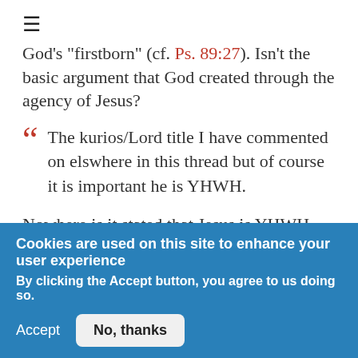God's "firstborn" (cf. Ps. 89:27). Isn't the basic argument that God created through the agency of Jesus?
The kurios/Lord title I have commented on elswhere in this thread but of course it is important he is YHWH.
Nowhere is it stated that Jesus is YHWH. Lordship, the authority to judge and rule, is something that is given to Jesus by YHWH. Because of his faithful obedience he is seated
Cookies are used on this site to enhance your user experience
By clicking the Accept button, you agree to us doing so.
Accept
No, thanks